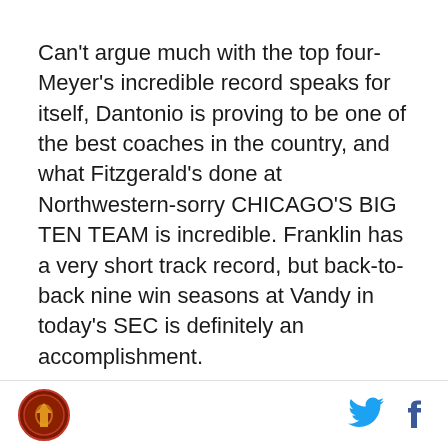Can't argue much with the top four- Meyer's incredible record speaks for itself, Dantonio is proving to be one of the best coaches in the country, and what Fitzgerald's done at Northwestern-sorry CHICAGO'S BIG TEN TEAM is incredible. Franklin has a very short track record, but back-to-back nine win seasons at Vandy in today's SEC is definitely an accomplishment.
Ranked below Coach Kill? Let us all take a moment to laugh at Iowa's coach being ranked lower than Minnesota's. HAHAHA! There, didn't that feel good? I hope it did, because now comes the part where I have to admit Ferentz isn't such a bad coach. Would I rather
[Figure (logo): Circular logo with dark red/maroon background and a stylized letter or icon in the center]
[Figure (logo): Twitter bird icon in blue]
[Figure (logo): Facebook 'f' icon in dark blue]